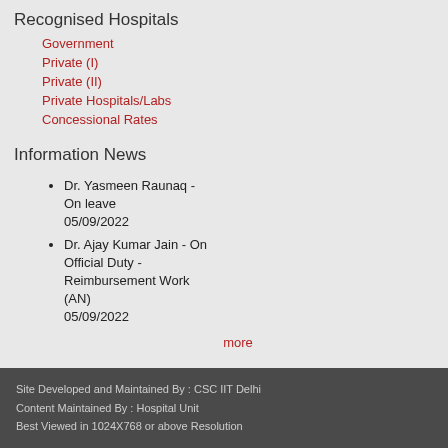Recognised Hospitals
Government
Private (I)
Private (II)
Private Hospitals/Labs
Concessional Rates
Information News
Dr. Yasmeen Raunaq - On leave
05/09/2022
Dr. Ajay Kumar Jain - On Official Duty - Reimbursement Work (AN)
05/09/2022
more
Site Developed and Maintained By : CSC IIT Delhi
Content Maintained By : Hospital Unit
Best Viewed in 1024X768 or above Resolution